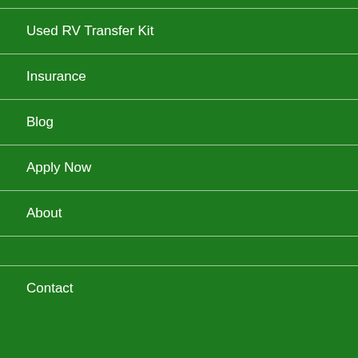Used RV Transfer Kit
Insurance
Blog
Apply Now
About
Contact